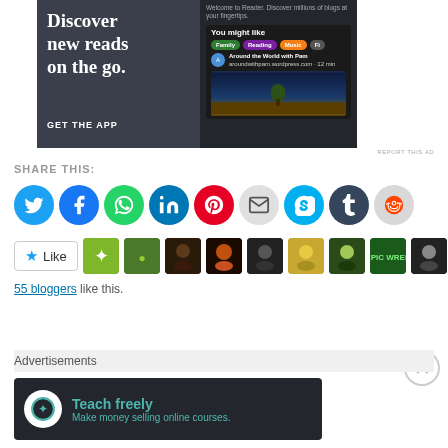[Figure (screenshot): Advertisement banner for a blog reader app showing 'Discover new reads on the go.' with GET THE APP call to action and app screenshot on the right side]
REPORT THIS AD
SHARE THIS:
[Figure (infographic): Row of social media sharing icons: Twitter, Facebook, WhatsApp, LinkedIn, Pinterest, Email, Skype, Tumblr, Reddit]
[Figure (infographic): Like button and blogger avatars row]
55 bloggers like this.
Advertisements
[Figure (screenshot): Advertisement for Teach freely - Make money selling online courses]